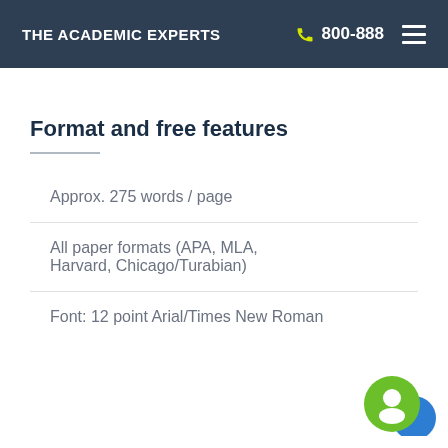THE ACADEMIC EXPERTS   800-888
Format and free features
Approx. 275 words / page
All paper formats (APA, MLA, Harvard, Chicago/Turabian)
Font: 12 point Arial/Times New Roman